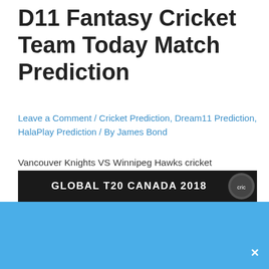D11 Fantasy Cricket Team Today Match Prediction
Leave a Comment / Cricket Prediction, Dream11 Prediction, HalaPlay Prediction / By James Bond
Vancouver Knights VS Winnipeg Hawks cricket prediction, This is 5th T20 match is going to play between Vancouver Knights VS Winnipeg Hawks at Maple Leaf North-West Ground,King City on Match 1st july 2018. Get free prediction, betting tips for today match.
Join Telegram Username for Instant Tips @betonlineprediction
[Figure (other): Global T20 Canada 2018 banner with dark background and logo, followed by blue advertisement section with close button]